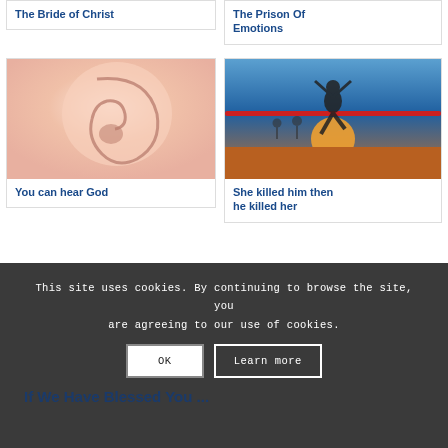The Bride of Christ
The Prison Of Emotions
[Figure (photo): Close-up photo of a human ear]
You can hear God
[Figure (photo): Runner crossing finish line with arms raised, sunset background, red ribbon across track]
She killed him then he killed her
This site uses cookies. By continuing to browse the site, you are agreeing to our use of cookies.
OK
Learn more
If We Have Blessed You ...